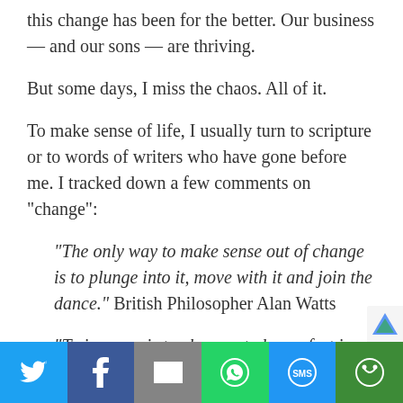this change has been for the better. Our business — and our sons — are thriving.
But some days, I miss the chaos. All of it.
To make sense of life, I usually turn to scripture or to words of writers who have gone before me. I tracked down a few comments on “change”:
“The only way to make sense out of change is to plunge into it, move with it and join the dance.” British Philosopher Alan Watts
“To improve is to change; to be perfect i…